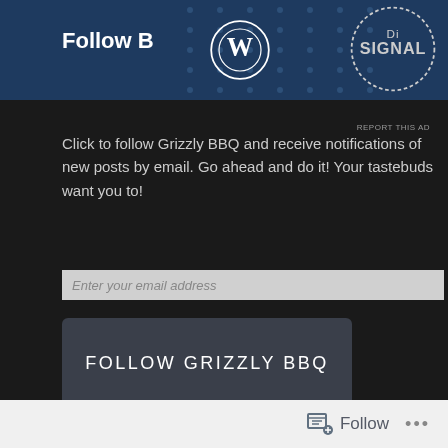[Figure (screenshot): Top dark blue banner with WordPress logo circle, DigiSignal badge/logo, dot pattern background]
Follow B
Click to follow Grizzly BBQ and receive notifications of new posts by email. Go ahead and do it! Your tastebuds want you to!
Enter your email address
FOLLOW GRIZZLY BBQ
WEBSITE BUILT WITH WORDPRESS.COM
Follow ...